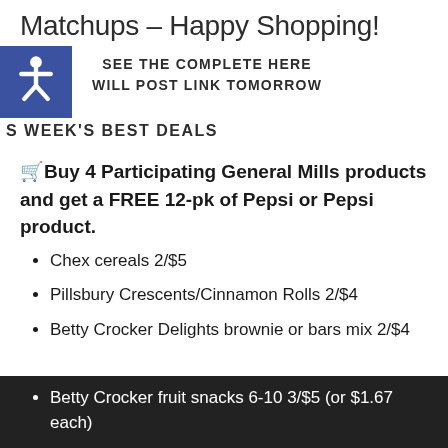Matchups – Happy Shopping!
SEE THE COMPLETE HERE
WILL POST LINK TOMORROW
THIS WEEK'S BEST DEALS
🛒Buy 4 Participating General Mills products and get a FREE 12-pk of Pepsi or Pepsi product.
Chex cereals 2/$5
Pillsbury Crescents/Cinnamon Rolls 2/$4
Betty Crocker Delights brownie or bars mix 2/$4
Betty Crocker fruit snacks 6-10 3/$5 (or $1.67 each)